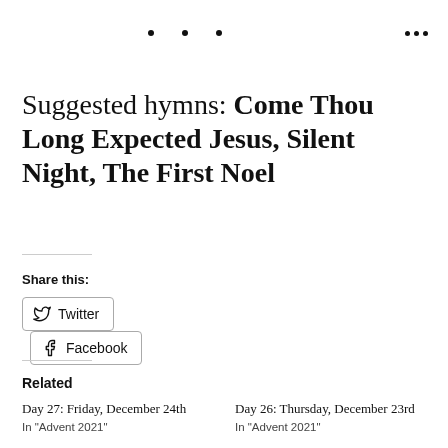• • • •••
Suggested hymns: Come Thou Long Expected Jesus, Silent Night, The First Noel
Share this:
[Figure (other): Twitter and Facebook share buttons]
Related
Day 27: Friday, December 24th
In "Advent 2021"
Day 26: Thursday, December 23rd
In "Advent 2021"
Day 7: Saturday, December 4th
In "Advent 2021"